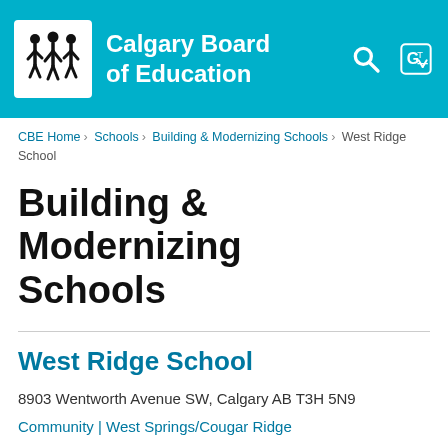[Figure (logo): Calgary Board of Education logo with stylized human figures and organization name in white on teal header background]
CBE Home › Schools › Building & Modernizing Schools › West Ridge School
Building & Modernizing Schools
West Ridge School
8903 Wentworth Avenue SW, Calgary AB T3H 5N9
Community | West Springs/Cougar Ridge
Capacity | 900 Students
Anticipated Opening Date | Jan. 2017*
Grades | 5-8 (year 1); 5-9 (year 2)